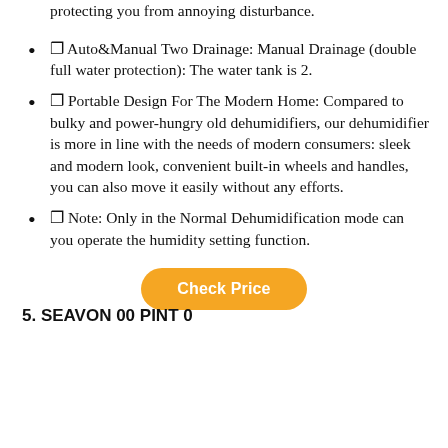protecting you from annoying disturbance.
⬥ Auto&Manual Two Drainage: Manual Drainage (double full water protection): The water tank is 2.
⬥ Portable Design For The Modern Home: Compared to bulky and power-hungry old dehumidifiers, our dehumidifier is more in line with the needs of modern consumers: sleek and modern look, convenient built-in wheels and handles, you can also move it easily without any efforts.
⬥ Note: Only in the Normal Dehumidification mode can you operate the humidity setting function.
Check Price
5. SEAVON 00 PINT 0